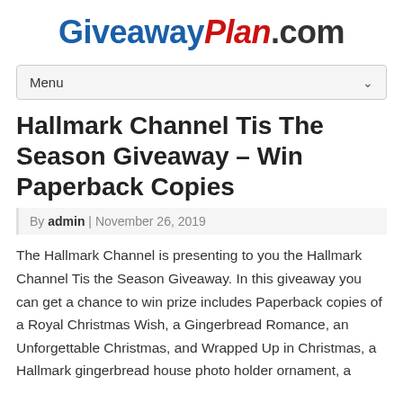[Figure (logo): GiveawayPlan.com logo with 'Giveaway' in blue bold, 'Plan' in red bold italic, '.com' in dark gray bold]
Menu
Hallmark Channel Tis The Season Giveaway – Win Paperback Copies
By admin | November 26, 2019
The Hallmark Channel is presenting to you the Hallmark Channel Tis the Season Giveaway. In this giveaway you can get a chance to win prize includes Paperback copies of a Royal Christmas Wish, a Gingerbread Romance, an Unforgettable Christmas, and Wrapped Up in Christmas, a Hallmark gingerbread house photo holder ornament, a